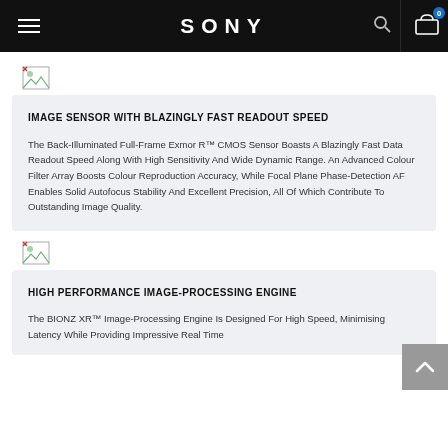SONY
[Figure (illustration): Broken image placeholder icon]
IMAGE SENSOR WITH BLAZINGLY FAST READOUT SPEED
The Back-Illuminated Full-Frame Exmor R™ CMOS Sensor Boasts A Blazingly Fast Data Readout Speed Along With High Sensitivity And Wide Dynamic Range. An Advanced Colour Filter Array Boosts Colour Reproduction Accuracy, While Focal Plane Phase-Detection AF Enables Solid Autofocus Stability And Excellent Precision, All Of Which Contribute To Outstanding Image Quality.
[Figure (illustration): Broken image placeholder icon]
HIGH PERFORMANCE IMAGE-PROCESSING ENGINE
The BIONZ XR™ Image-Processing Engine Is Designed For High Speed, Minimising Latency While Providing Impressive Real Time...